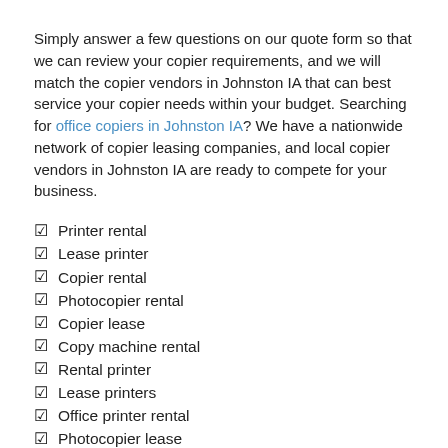Simply answer a few questions on our quote form so that we can review your copier requirements, and we will match the copier vendors in Johnston IA that can best service your copier needs within your budget. Searching for office copiers in Johnston IA? We have a nationwide network of copier leasing companies, and local copier vendors in Johnston IA are ready to compete for your business.
Printer rental
Lease printer
Copier rental
Photocopier rental
Copier lease
Copy machine rental
Rental printer
Lease printers
Office printer rental
Photocopier lease
Office printer lease